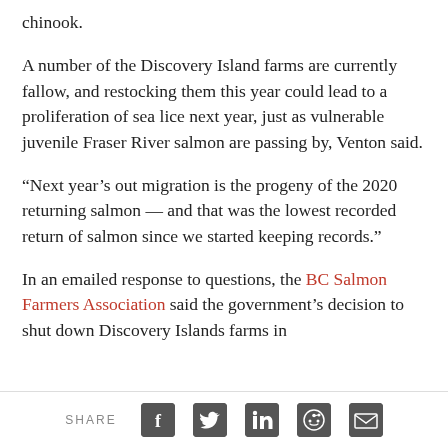chinook.
A number of the Discovery Island farms are currently fallow, and restocking them this year could lead to a proliferation of sea lice next year, just as vulnerable juvenile Fraser River salmon are passing by, Venton said.
“Next year’s out migration is the progeny of the 2020 returning salmon — and that was the lowest recorded return of salmon since we started keeping records.”
In an emailed response to questions, the BC Salmon Farmers Association said the government’s decision to shut down Discovery Islands farms in
SHARE